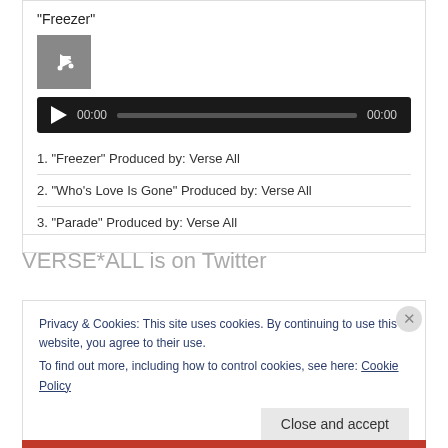"Freezer"
[Figure (other): Music file icon - grey square with white music note]
[Figure (other): Audio player bar with play button, 00:00 timestamps and progress bar on dark background]
1. "Freezer" Produced by: Verse All
2. "Who's Love Is Gone" Produced by: Verse All
3. "Parade" Produced by: Verse All
VERSE*ALL is on Twitter
Privacy & Cookies: This site uses cookies. By continuing to use this website, you agree to their use.
To find out more, including how to control cookies, see here: Cookie Policy
Close and accept